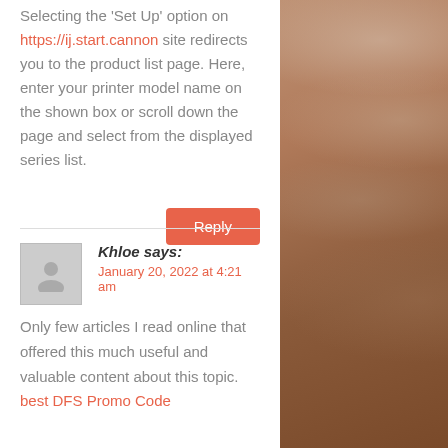Selecting the 'Set Up' option on https://ij.start.cannon site redirects you to the product list page. Here, enter your printer model name on the shown box or scroll down the page and select from the displayed series list.
Reply
Khloe says:
January 20, 2022 at 4:21 am
Only few articles I read online that offered this much useful and valuable content about this topic. best DFS Promo Code